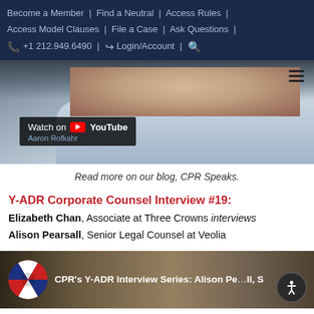Become a Member | Find a Neutral | Access Rules | Access Model Clauses | File a Case | Ask Questions | +1 212.949.6490 | Login/Account |
[Figure (screenshot): YouTube video thumbnail showing a man in a light blue shirt, with Watch on YouTube overlay and Aaron Rofkahr credit]
Read more on our blog, CPR Speaks.
Y-ADR Corporate Counsel Interview #19:
Elizabeth Chan, Associate at Three Crowns interviews Alison Pearsall, Senior Legal Counsel at Veolia
[Figure (screenshot): CPR's Y-ADR Interview Series video thumbnail featuring CPR logo and text: CPR's Y-ADR Interview Series: Alison Pearsall, S... with accessibility icon]